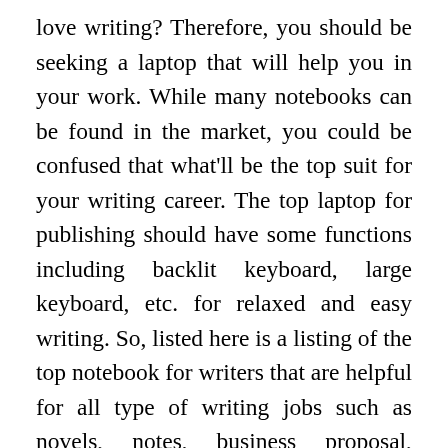love writing? Therefore, you should be seeking a laptop that will help you in your work. While many notebooks can be found in the market, you could be confused that what'll be the top suit for your writing career. The top laptop for publishing should have some functions including backlit keyboard, large keyboard, etc. for relaxed and easy writing. So, listed here is a listing of the top notebook for writers that are helpful for all type of writing jobs such as novels, notes, business proposal, publications, etc. These notebooks can be found in various ranges that are best fitted for professional and seasonal writers both.
Read the best laptops for writers. Today, within